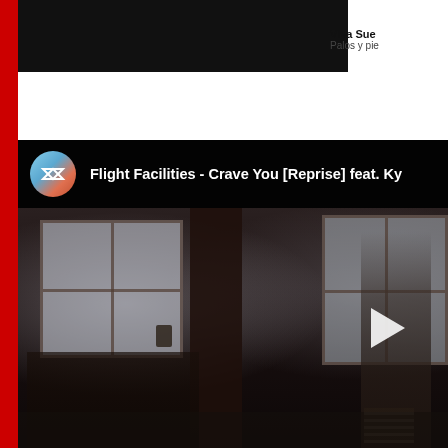Viva Sue...
Palos y pie...
[Figure (screenshot): YouTube video embed showing Flight Facilities - Crave You [Reprise] feat. Ky... with channel icon (circular gradient with FF logo), black header bar, and video thumbnail showing a dark interior room scene with windows, a figure standing, books stacked, and a play button overlay on the right side]